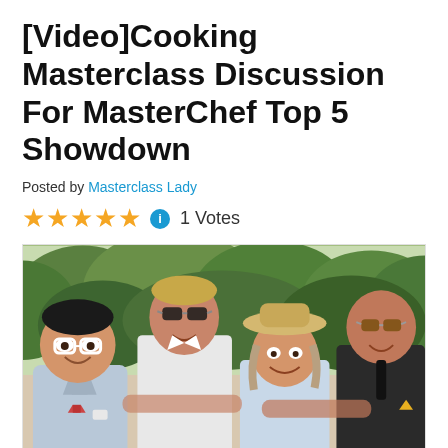[Video]Cooking Masterclass Discussion For MasterChef Top 5 Showdown
Posted by Masterclass Lady
★★★★★ ℹ 1 Votes
[Figure (photo): Four people posing outdoors with trees in background: a heavyset man in a checked blazer and red bow tie with white-framed glasses; a tall man in white shirt with dark sunglasses; a woman in a cowboy hat and light blue top; a bald man in a dark suit with sunglasses.]